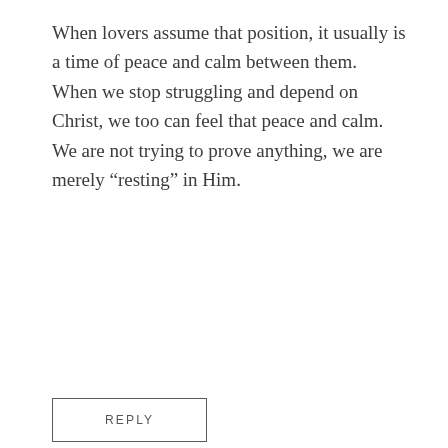When lovers assume that position, it usually is a time of peace and calm between them.  When we stop struggling and depend on Christ, we too can feel that peace and calm.  We are not trying to prove anything, we are merely “resting” in Him.
REPLY
[Figure (photo): Portrait photo of an older woman with short blonde/white hair, wearing a dark top with red trim, seated indoors against a light background.]